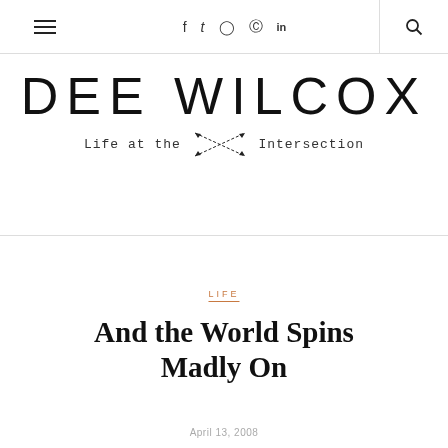Navigation bar with hamburger menu, social icons (f, t, Instagram, Pinterest, in), and search icon
[Figure (logo): DEE WILCOX logo with tagline 'Life at the Intersection' featuring crossed arrows graphic]
LIFE
And the World Spins Madly On
April 13, 2008